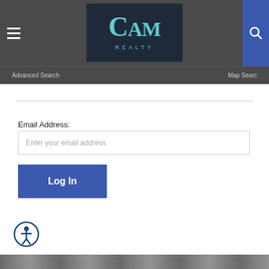CAM Realty — Advanced Search | Map Search
[Figure (logo): CAM Realty logo with teal lettering on dark navy background]
Email Address:
Enter your email address
Log In
[Figure (illustration): Accessibility icon — circular badge with person figure]
[Figure (photo): Bottom image strip showing partial photo]